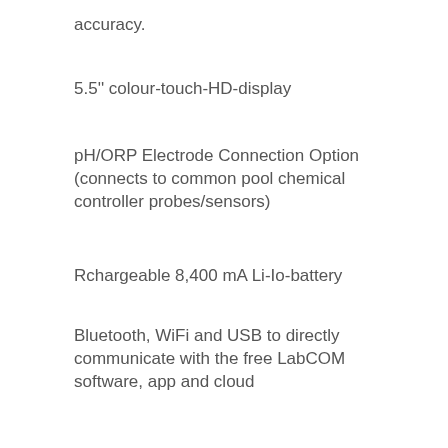accuracy.
5.5'' colour-touch-HD-display
pH/ORP Electrode Connection Option (connects to common pool chemical controller probes/sensors)
Rchargeable 8,400 mA Li-Io-battery
Bluetooth, WiFi and USB to directly communicate with the free LabCOM software, app and cloud
QR-scanning camera to recognise reagents
Enhanced admin setup via LabCOM allows remote validation of water quality